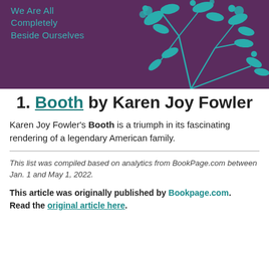[Figure (illustration): Book cover image with purple/mauve background and teal botanical floral illustrations. Text reads 'We Are All Completely Beside Ourselves' in teal lettering on the left side.]
1. Booth by Karen Joy Fowler
Karen Joy Fowler's Booth is a triumph in its fascinating rendering of a legendary American family.
This list was compiled based on analytics from BookPage.com between Jan. 1 and May 1, 2022.
This article was originally published by Bookpage.com. Read the original article here.